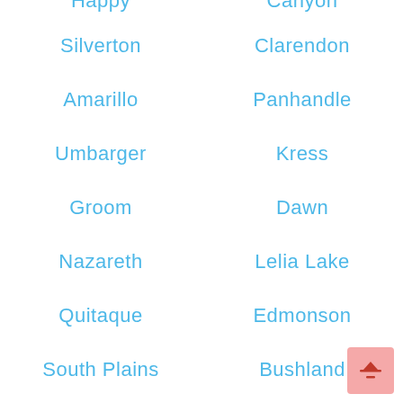Happy
Canyon
Silverton
Clarendon
Amarillo
Panhandle
Umbarger
Kress
Groom
Dawn
Nazareth
Lelia Lake
Quitaque
Edmonson
South Plains
Bushland
Wildorado
White Deer